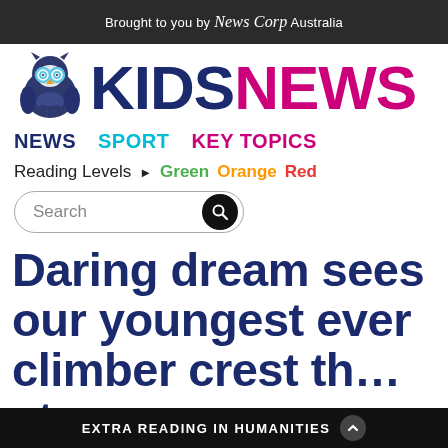Brought to you by News Corp Australia
[Figure (logo): Kids News logo with owl mascot wearing glasses, KIDS in dark blue and NEWS in magenta/pink]
NEWS
SPORT
KEY TOPICS
Reading Levels ▶ Green Orange Red
Search
Daring dream sees our youngest ever climber crest th...st
EXTRA READING IN HUMANITIES